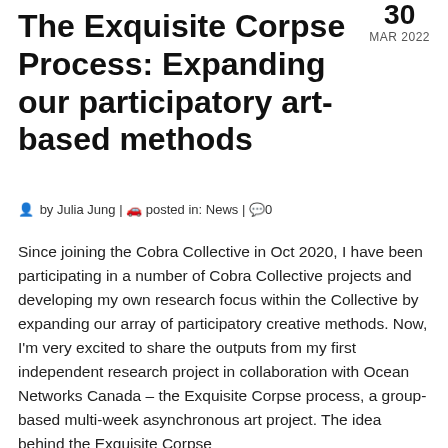30 MAR 2022
The Exquisite Corpse Process: Expanding our participatory art-based methods
by Julia Jung | posted in: News | 0
Since joining the Cobra Collective in Oct 2020, I have been participating in a number of Cobra Collective projects and developing my own research focus within the Collective by expanding our array of participatory creative methods. Now, I'm very excited to share the outputs from my first independent research project in collaboration with Ocean Networks Canada – the Exquisite Corpse process, a group-based multi-week asynchronous art project. The idea behind the Exquisite Corpse